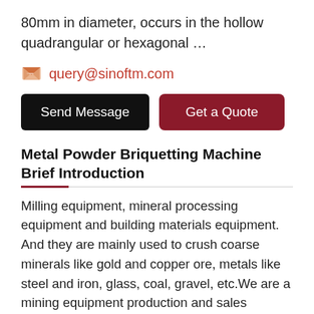80mm in diameter, occurs in the hollow quadrangular or hexagonal …
query@sinoftm.com
Send Message | Get a Quote
Metal Powder Briquetting Machine Brief Introduction
Milling equipment, mineral processing equipment and building materials equipment. And they are mainly used to crush coarse minerals like gold and copper ore, metals like steel and iron, glass, coal, gravel, etc.We are a mining equipment production and sales company, with three production bases and four research institutes, more than 600